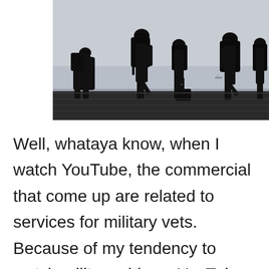[Figure (photo): Silhouette photograph of soldiers with backpacks and weapons walking in a line, with a hazy water/harbor background.]
Well, whataya know, when I watch YouTube, the commercial that come up are related to services for military vets. Because of my tendency to watch military videos, YouTube thinks I am either a